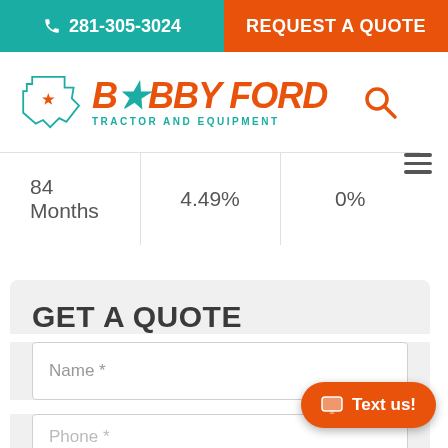281-305-3024   REQUEST A QUOTE
[Figure (logo): Bobby Ford Tractor and Equipment logo with Texas state outline and star]
| 84 Months | 4.49% | 0% |
GET A QUOTE
Name *
Phone *
Text us!